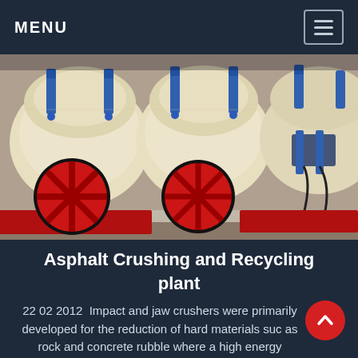MENU
[Figure (photo): Industrial asphalt crushing and recycling machinery with red flywheels, blue hydraulic cylinders, and cream-colored crusher bodies arranged in a row]
Asphalt Crushing and Recycling plant
22 02 2012  Impact and jaw crushers were primarily developed for the reduction of hard materials such as rock and concrete rubble where a high energy